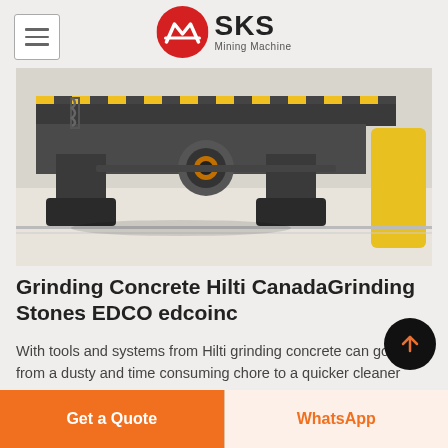SKS Mining Machine
[Figure (photo): Close-up of industrial mining/grinding machine components showing dark metal frame, rubber isolators, orange-accented wheel/hub, and a yellow safety bumper on the right side, on a light floor]
Grinding Concrete Hilti CanadaGrinding Stones EDCO edcoinc
With tools and systems from Hilti grinding concrete can go from a dusty and time consuming chore to a quicker cleaner process Request a demo Thanks to their refined diamond cup design Hilti grinding wheels help crews concrete faster than everFor more than 55 years